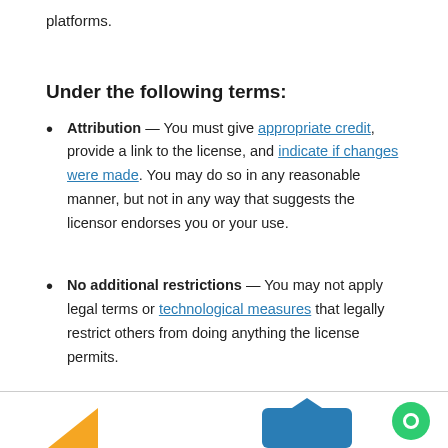platforms.
Under the following terms:
Attribution — You must give appropriate credit, provide a link to the license, and indicate if changes were made. You may do so in any reasonable manner, but not in any way that suggests the licensor endorses you or your use.
No additional restrictions — You may not apply legal terms or technological measures that legally restrict others from doing anything the license permits.